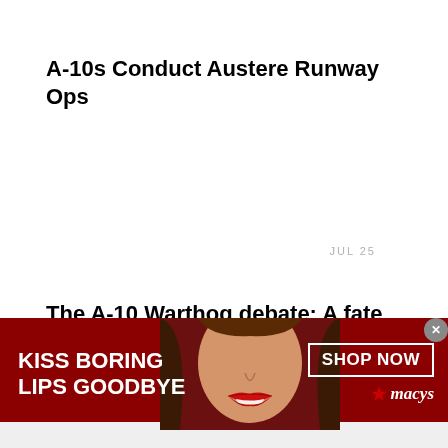A-10s Conduct Austere Runway Ops
JUL 25
The A-10 Warthog debate: A fate worse than death
AUG 28
How scary is the Russian S-400 SAM?
[Figure (illustration): Advertisement banner for Macy's lipstick. Red background with a woman's face wearing red lipstick. Text: KISS BORING LIPS GOODBYE, SHOP NOW, with Macy's star logo.]